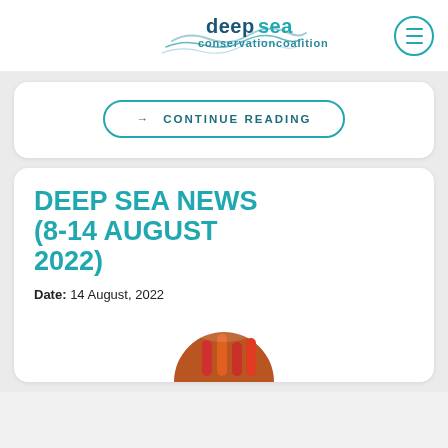[Figure (logo): Deep Sea Conservation Coalition logo with wave graphic, teal colored text]
→ CONTINUE READING
DEEP SEA NEWS (8-14 AUGUST 2022)
Date: 14 August, 2022
[Figure (photo): Circular cropped image showing what appears to be ropes or nautical equipment on a dark background]